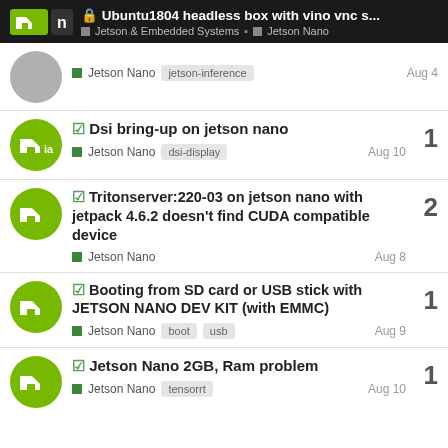Ubuntu1804 headless box with vino vnc s... — Jetson & Embedded Systems / Jetson Nano
Jetson Nano | jetson-inference | Aug 4
☑ Dsi bring-up on jetson nano | Jetson Nano | dsi-display | Aug 10 | replies: 1
☑ Tritonserver:220-03 on jetson nano with jetpack 4.6.2 doesn't find CUDA compatible device | Jetson Nano | Aug 8 | replies: 2
☑ Booting from SD card or USB stick with JETSON NANO DEV KIT (with EMMC) | Jetson Nano | boot | usb | Aug 9 | replies: 1
☑ Jetson Nano 2GB, Ram problem | Jetson Nano | tensorrt | Aug 10 | replies: 1